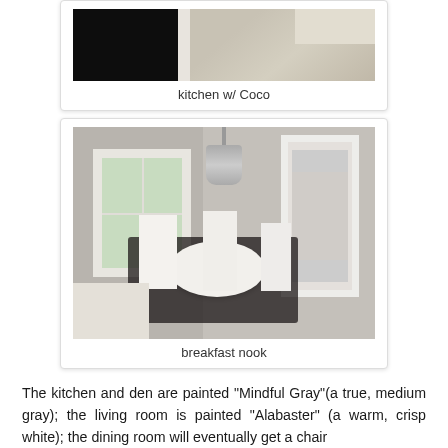[Figure (photo): Kitchen photo with Coco — dark cabinets on left, white upper cabinets, tan/beige floor visible at top right]
kitchen w/ Coco
[Figure (photo): Breakfast nook with gray walls, white chandelier, white dining table and chairs on dark patterned rug, large window with natural light, doorway to laundry room on right]
breakfast nook
The kitchen and den are painted "Mindful Gray"(a true, medium gray); the living room is painted "Alabaster" (a warm, crisp white); the dining room will eventually get a chair